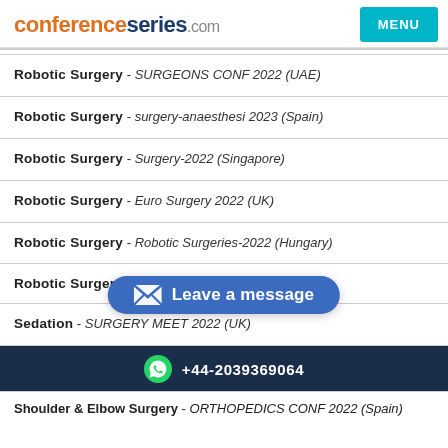conferenceseries.com | MENU
Robotic Surgery - SURGEONS CONF 2022 (UAE)
Robotic Surgery - surgery-anaesthesi 2023 (Spain)
Robotic Surgery - Surgery-2022 (Singapore)
Robotic Surgery - Euro Surgery 2022 (UK)
Robotic Surgery - Robotic Surgeries-2022 (Hungary)
Robotic Surgery - Spine Congress 2022 (Italy)
Sedation - SURGERY MEET 2022 (UK)
[Figure (other): Leave a message pill button overlay on dark blue bar, with envelope icon]
+44-2039369064
Shoulder & Elbow Surgery - ORTHOPEDICS CONF 2022 (Spain)